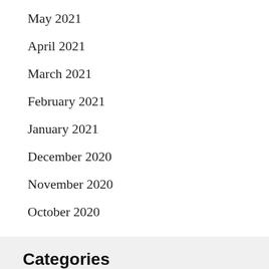May 2021
April 2021
March 2021
February 2021
January 2021
December 2020
November 2020
October 2020
Categories
Country Music